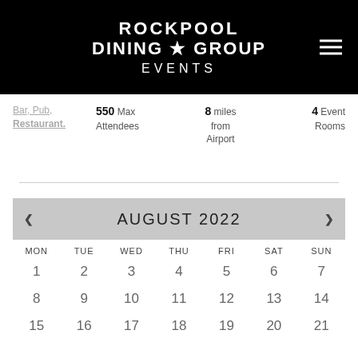ROCKPOOL DINING ★ GROUP EVENTS
Bar, Pub, Restaurant. 550 Max Attendees  8 miles from Airport  4 Event Rooms
| MON | TUE | WED | THU | FRI | SAT | SUN |
| --- | --- | --- | --- | --- | --- | --- |
| 1 | 2 | 3 | 4 | 5 | 6 | 7 |
| 8 | 9 | 10 | 11 | 12 | 13 | 14 |
| 15 | 16 | 17 | 18 | 19 | 20 | 21 |